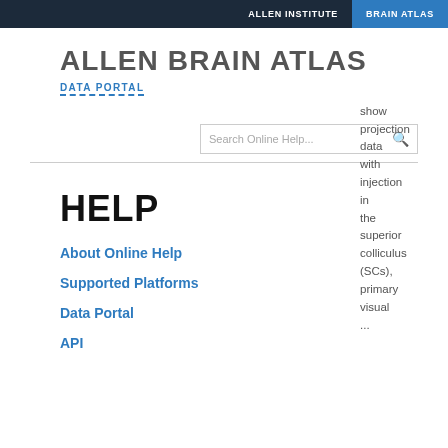ALLEN INSTITUTE   BRAIN ATLAS
ALLEN BRAIN ATLAS
DATA PORTAL
[Figure (other): Search box with placeholder text 'Search Online Help...' and a search icon]
HELP
About Online Help
Supported Platforms
Data Portal
API
show projection data with injection in the superior colliculus (SCs), primary visual ...